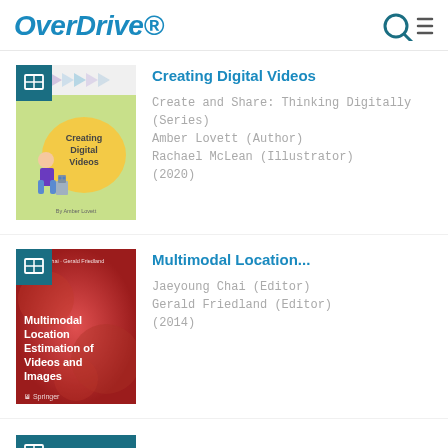OverDrive
[Figure (illustration): Book cover: Creating Digital Videos - children's book with cartoon girl and robot, yellow speech bubble, colorful chevron pattern at top]
Creating Digital Videos
Create and Share: Thinking Digitally (Series)
Amber Lovett (Author)
Rachael McLean (Illustrator)
(2020)
[Figure (illustration): Book cover: Multimodal Location Estimation of Videos and Images - red cover with Springer publisher logo]
Multimodal Location...
Jaeyoung Chai (Editor)
Gerald Friedland (Editor)
(2014)
[Figure (illustration): Partial book cover (teal/dark teal) at bottom of page, cut off]